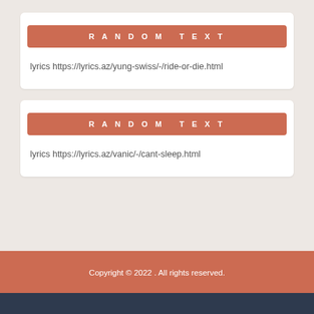RANDOM TEXT
lyrics https://lyrics.az/yung-swiss/-/ride-or-die.html
RANDOM TEXT
lyrics https://lyrics.az/vanic/-/cant-sleep.html
Copyright © 2022 . All rights reserved.